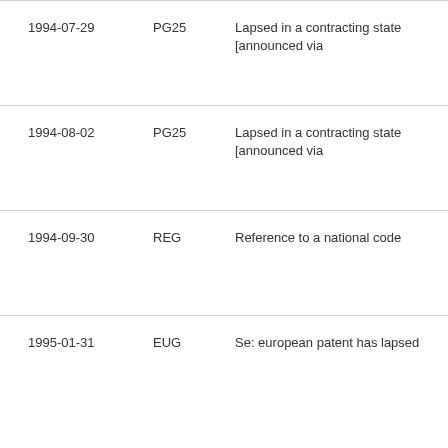| 1994-07-29 | PG25 | Lapsed in a contracting state [announced via |
| 1994-08-02 | PG25 | Lapsed in a contracting state [announced via |
| 1994-09-30 | REG | Reference to a national code |
| 1995-01-31 | EUG | Se: european patent has lapsed |